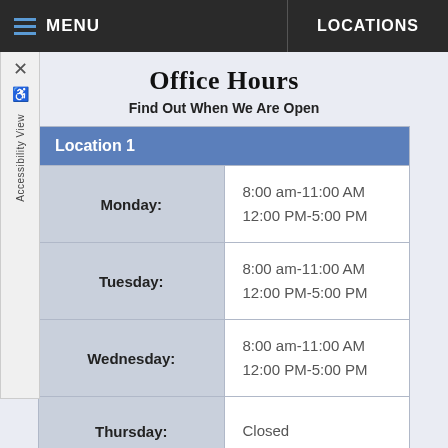MENU   LOCATIONS
Office Hours
Find Out When We Are Open
| Location 1 |  |
| --- | --- |
| Monday: | 8:00 am-11:00 AM
12:00 PM-5:00 PM |
| Tuesday: | 8:00 am-11:00 AM
12:00 PM-5:00 PM |
| Wednesday: | 8:00 am-11:00 AM
12:00 PM-5:00 PM |
| Thursday: | Closed |
| Friday: | 8:00 am-11:00 AM
12:00 PM-5:00 PM |
| Saturday: | Closed |